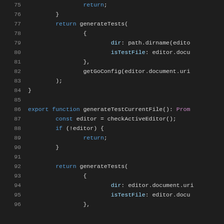[Figure (screenshot): Code editor screenshot showing JavaScript/TypeScript source code, lines 75-96, dark theme. Lines show function body with return generateTests() call and export function generateTestCurrentFile() definition with const editor, if (!editor) block, and another return generateTests() call.]